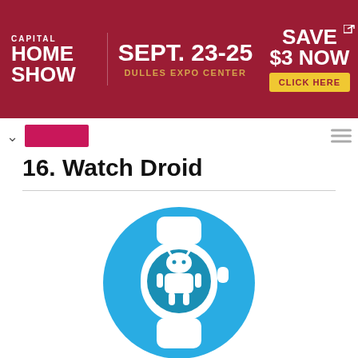[Figure (infographic): Capital Home Show advertisement banner. Dark red background with white and gold text: CAPITAL HOME SHOW | SEPT. 23-25 | DULLES EXPO CENTER | SAVE $3 NOW | CLICK HERE button in yellow.]
[Figure (illustration): App icon for Watch Droid: white Android robot figure on a smartwatch face graphic, set on a blue circular background.]
16. Watch Droid
Make your small screen more dutiful with this wear android app. you can use this app in both your phone and smartwatch at the same time. This app helps to work on